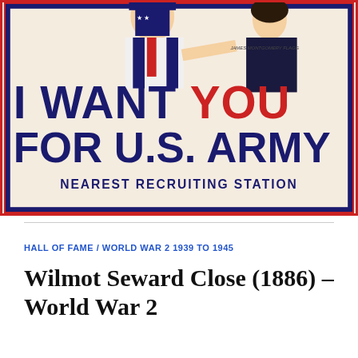[Figure (illustration): Famous 'I Want YOU for U.S. Army' recruitment poster showing Uncle Sam pointing at viewer, with text 'I WANT YOU FOR U.S. ARMY' and 'NEAREST RECRUITING STATION']
HALL OF FAME / WORLD WAR 2 1939 TO 1945
Wilmot Seward Close (1886) – World War 2